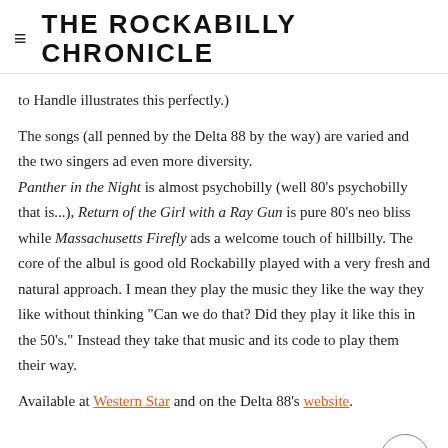≡  THE ROCKABILLY CHRONICLE
to Handle illustrates this perfectly.)
The songs (all penned by the Delta 88 by the way) are varied and the two singers ad even more diversity.
Panther in the Night is almost psychobilly (well 80's psychobilly that is...), Return of the Girl with a Ray Gun is pure 80's neo bliss while Massachusetts Firefly ads a welcome touch of hillbilly. The core of the albul is good old Rockabilly played with a very fresh and natural approach. I mean they play the music they like the way they like without thinking "Can we do that? Did they play it like this in the 50's." Instead they take that music and its code to play them their way.
Available at Western Star and on the Delta 88's website.
Fred "Virgil" Turgis